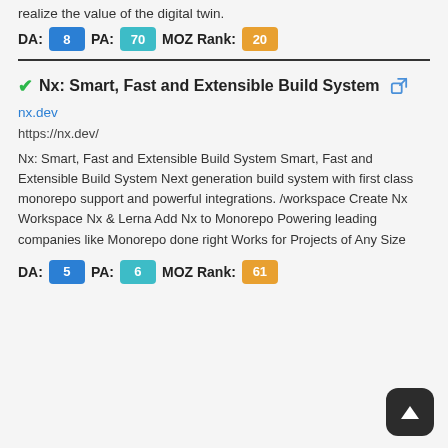realize the value of the digital twin.
DA: 8  PA: 70  MOZ Rank: 20
✓Nx: Smart, Fast and Extensible Build System 🔗
nx.dev
https://nx.dev/
Nx: Smart, Fast and Extensible Build System Smart, Fast and Extensible Build System Next generation build system with first class monorepo support and powerful integrations. /workspace Create Nx Workspace Nx & Lerna Add Nx to Monorepo Powering leading companies like Monorepo done right Works for Projects of Any Size
DA: 5  PA: 6  MOZ Rank: 61